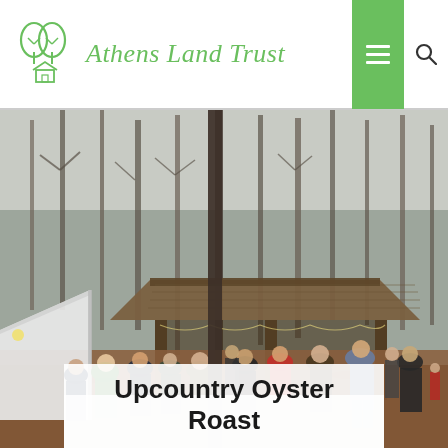Athens Land Trust
[Figure (photo): Outdoor woodland event scene with people gathered near a rustic open-air pavilion with a metal roof, surrounded by bare winter trees. A white tent is visible on the left side. People wearing winter clothing mill about on a leaf-covered ground.]
Upcountry Oyster Roast